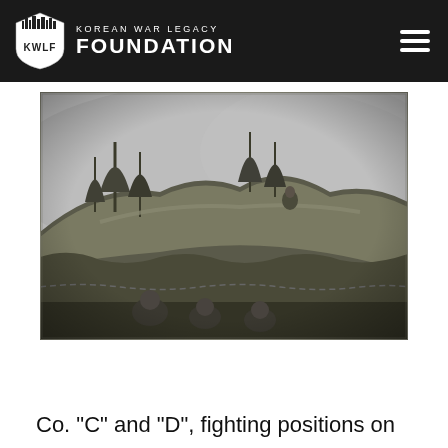Korean War Legacy Foundation
[Figure (photo): Black and white photograph of soldiers in fighting positions on a hillside with trees and mountainous terrain in the background, Korean War era.]
Co. "C" and "D", fighting positions on